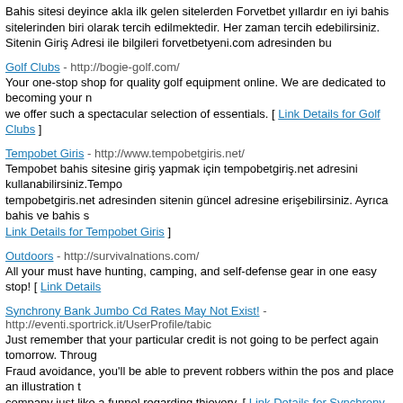Bahis sitesi deyince akla ilk gelen sitelerden Forvetbet yıllardır en iyi bahis sitelerinden biri olarak tercih edilmektedir. Her zaman tercih edebilirsiniz. Sitenin Giriş Adresi ile bilgileri forvetbetyeni.com adresinden bulabilirsiniz.
Golf Clubs - http://bogie-golf.com/ Your one-stop shop for quality golf equipment online. We are dedicated to becoming your number one supply when we offer such a spectacular selection of essentials. [ Link Details for Golf Clubs ]
Tempobet Giris - http://www.tempobetgiris.net/ Tempobet bahis sitesine giriş yapmak için tempobetgiriş.net adresini kullanabilirsiniz. Tempobetgiris.net adresinden sitenin güncel adresine erişebilirsiniz. Ayrıca bahis ve bahis s... Link Details for Tempobet Giris ]
Outdoors - http://survivalnations.com/ All your must have hunting, camping, and self-defense gear in one easy stop! [ Link Details...
Synchrony Bank Jumbo Cd Rates May Not Exist! - http://eventi.sportrick.it/UserProfile/tabid... Just remember that your particular credit is not going to be perfect again tomorrow. Through Fraud avoidance, you'll be able to prevent robbers within the pos and place an illustration to every company just like a funnel regarding thievery. [ Link Details for Synchrony Bank Jumbo Cd...
El Clasico live in India - http://elclasico2019live.com/ 2019 El Clasico Live Streaming La Liga Real Madrid vs Barcelona Live Online Watch TV ch... for El Clasico live in India ]
Ankara Basketbol Kursu - http://www.pisporakademi.com Pi spor akademi ve spor kulubü 2010 yılında kurulmuş, kaliteli, güvenilir ve biliselliğe dayalı bir kurumdur.2010 yılında kullanıma açmış olduğu Pi Spor Kompleksi ile birlikte bünyesindeki spor kulübümüz, her yıl daha iyiyi, büyüyerek daha fazla bireye spor yaptırabilme amacını yakalayabilme misyonunu yüklenmiştir. [ Link Details for Ankara Basketbol Kursu ]
JasaHoki88 - http://www.jasa188.com/ JasaHoki88 adalah Situs Judi Online Terpercaya di Indonesia dengan Pasaran Bola Terlen... JasaHoki88 ]
Scoreboard - http://www.boostrdisplays.com/products At Boostr Digital Displays, we take making scoreboards very seriously. Basketballs, uniforms coaching tools help facilitate an important learning environment for skills development. [